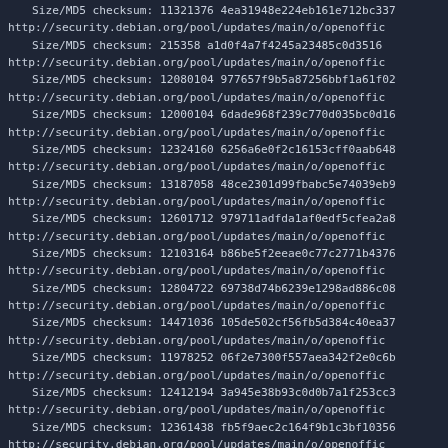Size/MD5 checksum: 11321376 4ea31948e224eb161e712bc337
http://security.debian.org/pool/updates/main/o/openoffic
Size/MD5 checksum:  215358 a1d0f4a7f4245a23485c0d3516
http://security.debian.org/pool/updates/main/o/openoffic
Size/MD5 checksum: 12080104 977657f9b5a87256bbf1a61f02
http://security.debian.org/pool/updates/main/o/openoffic
Size/MD5 checksum: 12000104 6dade968f239c770d035bc0d16
http://security.debian.org/pool/updates/main/o/openoffic
Size/MD5 checksum: 12324160 6256a6e0f2c16153cff0aab648
http://security.debian.org/pool/updates/main/o/openoffic
Size/MD5 checksum: 13187058 48ce2301d99fbabc5e74039eb9
http://security.debian.org/pool/updates/main/o/openoffic
Size/MD5 checksum: 12601712 979711adfda1af0edf5cfea2a8
http://security.debian.org/pool/updates/main/o/openoffic
Size/MD5 checksum: 12103164 b86be5f2eeae0c77c2771b4376
http://security.debian.org/pool/updates/main/o/openoffic
Size/MD5 checksum: 12804722 69738d74b6239e1298ad886c08
http://security.debian.org/pool/updates/main/o/openoffic
Size/MD5 checksum: 14471036 105de502cf56fb5d384c40ea37
http://security.debian.org/pool/updates/main/o/openoffic
Size/MD5 checksum: 11978252 06f2e7300f557aea342f2e0c6b
http://security.debian.org/pool/updates/main/o/openoffic
Size/MD5 checksum: 12412194 3a945e38b93c0d0b7a1f253cc3
http://security.debian.org/pool/updates/main/o/openoffic
Size/MD5 checksum: 12361438 fb5f9aec2c164f9b1c3bf10356
http://security.debian.org/pool/updates/main/o/openoffic
Size/MD5 checksum: 12092982 9dadb6dc3550c041ae3a2a05ec
http://security.debian.org/pool/updates/main/o/openoffic
Size/MD5 checksum: 13221232 e08e40254cf1d01b5b565a1eb6
http://security.debian.org/pool/updates/main/o/openoffic
Size/MD5 checksum: 12089662 01cc1f0ca63c0e5ceb0f097168
http://security.debian.org/pool/updates/main/o/openoffic
Size/MD5 checksum: 11827136 243487e89eaaddc2717031451b